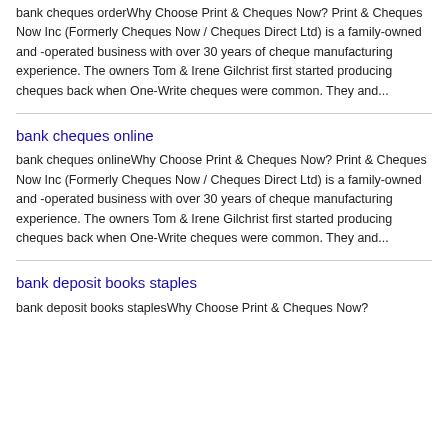bank cheques orderWhy Choose Print & Cheques Now? Print & Cheques Now Inc (Formerly Cheques Now / Cheques Direct Ltd) is a family-owned and -operated business with over 30 years of cheque manufacturing experience. The owners Tom & Irene Gilchrist first started producing cheques back when One-Write cheques were common. They and...
bank cheques online
bank cheques onlineWhy Choose Print & Cheques Now? Print & Cheques Now Inc (Formerly Cheques Now / Cheques Direct Ltd) is a family-owned and -operated business with over 30 years of cheque manufacturing experience. The owners Tom & Irene Gilchrist first started producing cheques back when One-Write cheques were common. They and...
bank deposit books staples
bank deposit books staplesWhy Choose Print & Cheques Now?